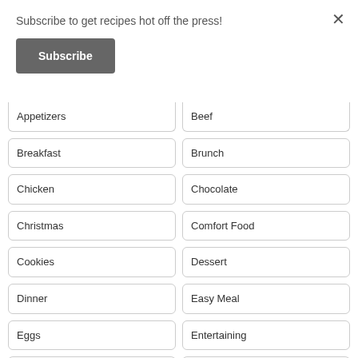Subscribe to get recipes hot off the press!
Subscribe
Appetizers
Beef
Breakfast
Brunch
Chicken
Chocolate
Christmas
Comfort Food
Cookies
Dessert
Dinner
Easy Meal
Eggs
Entertaining
Fall
Fruit
Gluten-Free
Gluten Free